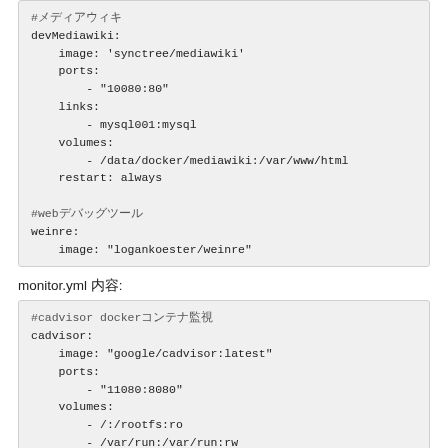#メディアウィキ
devMediawiki:
    image: 'synctree/mediawiki'
    ports:
        - "10080:80"
    links:
        - mysql001:mysql
    volumes:
        - /data/docker/mediawiki:/var/www/html
    restart: always

#webデバッグツール
weinre:
    image: "logankoester/weinre"
monitor.yml 内容:
#cadvisor dockerコンテナ監視
cadvisor:
    image: "google/cadvisor:latest"
    ports:
        - "11080:8080"
    volumes:
        - /:/rootfs:ro
        - /var/run:/var/run:rw
        - /sys:/sys:ro